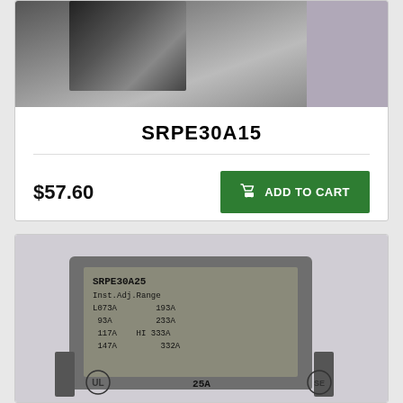[Figure (photo): Close-up photo of a dark industrial electronic component with model SRPE30A15 printed on it, partial view cropped at top.]
SRPE30A15
$57.60
ADD TO CART
[Figure (photo): Close-up photo of electronic component labeled SRPE30A25 with Inst. Adj. Range specifications: L073A, 93A, 117A, 147A, 193A, 233A, HI 333A, 332A. Shows UL and SE certification logos and 25A rating at bottom.]